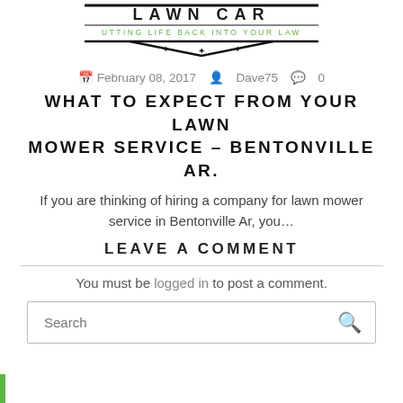[Figure (logo): Lawn care company logo with text 'LAWN CAR' at top, 'UTTING LIFE BACK INTO YOUR LAW' in green below, decorative chevron with stars]
February 08, 2017  Dave75  0
WHAT TO EXPECT FROM YOUR LAWN MOWER SERVICE – BENTONVILLE AR.
If you are thinking of hiring a company for lawn mower service in Bentonville Ar, you…
LEAVE A COMMENT
You must be logged in to post a comment.